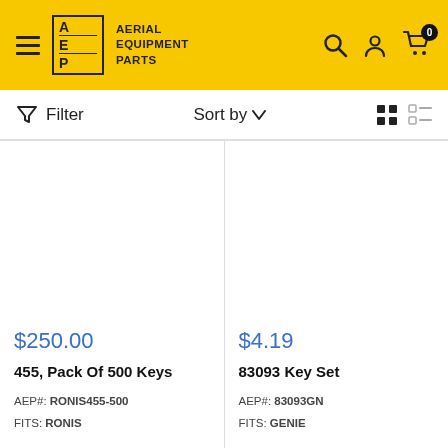AERIAL EQUIPMENT PARTS
Filter  Sort by
$250.00
455, Pack Of 500 Keys
AEP#: RONIS455-500
FITS: RONIS
$4.19
83093 Key Set
AEP#: 83093GN
FITS: GENIE